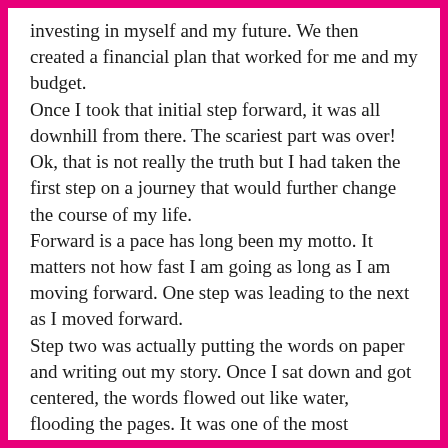investing in myself and my future. We then created a financial plan that worked for me and my budget. Once I took that initial step forward, it was all downhill from there. The scariest part was over!  Ok, that is not really the truth but I had taken the first step on a journey that would further change the course of my life. Forward is a pace has long been my motto. It matters not how fast I am going as long as I am moving forward. One step was leading to the next as I moved forward. Step two was actually putting the words on paper and writing out my story. Once I sat down and got centered, the words flowed out like water, flooding the pages. It was one of the most cathartic experiences of my life!  Putting my story on paper was like opening the curtains